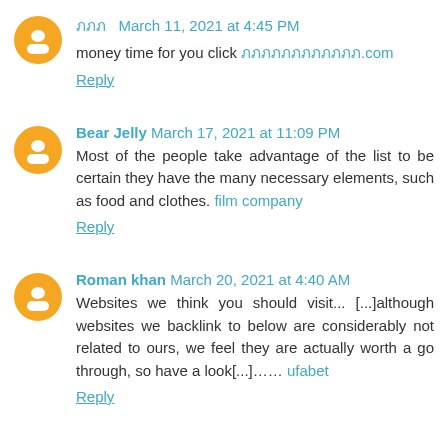ภภภ  March 11, 2021 at 4:45 PM
money time for you click ภภภภภภภภภภภภ.com
Reply
Bear Jelly  March 17, 2021 at 11:09 PM
Most of the people take advantage of the list to be certain they have the many necessary elements, such as food and clothes. film company
Reply
Roman khan  March 20, 2021 at 4:40 AM
Websites we think you should visit... [...]although websites we backlink to below are considerably not related to ours, we feel they are actually worth a go through, so have a look[...]…… ufabet
Reply